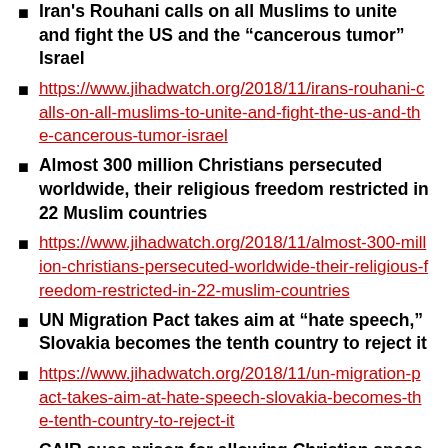Iran's Rouhani calls on all Muslims to unite and fight the US and the “cancerous tumor” Israel
https://www.jihadwatch.org/2018/11/irans-rouhani-calls-on-all-muslims-to-unite-and-fight-the-us-and-the-cancerous-tumor-israel
Almost 300 million Christians persecuted worldwide, their religious freedom restricted in 22 Muslim countries
https://www.jihadwatch.org/2018/11/almost-300-million-christians-persecuted-worldwide-their-religious-freedom-restricted-in-22-muslim-countries
UN Migration Pact takes aim at “hate speech,” Slovakia becomes the tenth country to reject it
https://www.jihadwatch.org/2018/11/un-migration-pact-takes-aim-at-hate-speech-slovakia-becomes-the-tenth-country-to-reject-it
CAIR sues prison for allowing Christian space, files injunction demanding “Islamic programming,” “pork-free meals”